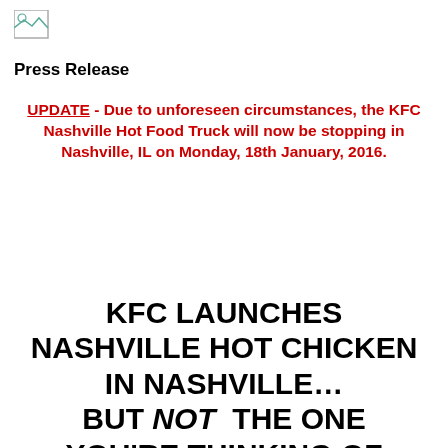[Figure (logo): Small broken/placeholder image icon in top left corner]
Press Release
UPDATE - Due to unforeseen circumstances, the KFC Nashville Hot Food Truck will now be stopping in Nashville, IL on Monday, 18th January, 2016.
KFC LAUNCHES NASHVILLE HOT CHICKEN IN NASHVILLE… BUT NOT THE ONE YOU'RE THINKING OF